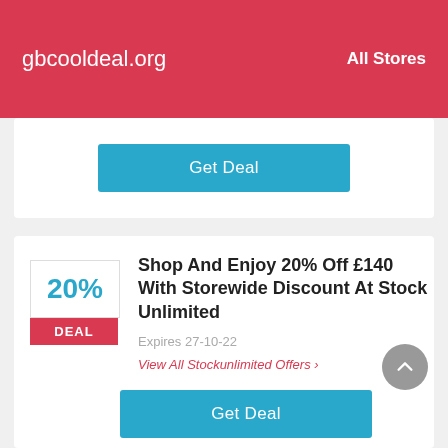gbcooldeal.org   All Stores
Get Deal
Shop And Enjoy 20% Off £140 With Storewide Discount At Stock Unlimited
20%
DEAL
Expires 27-10-22
View All Stockunlimited Offers ›
Get Deal